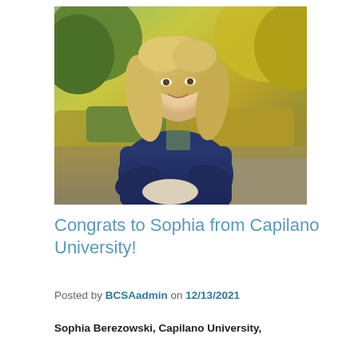[Figure (photo): Young woman with long blonde hair wearing a navy blue sweater, sitting outdoors in a garden setting with green and yellow foliage in the background.]
Congrats to Sophia from Capilano University!
Posted by BCSAadmin on 12/13/2021
Sophia Berezowski, Capilano University,